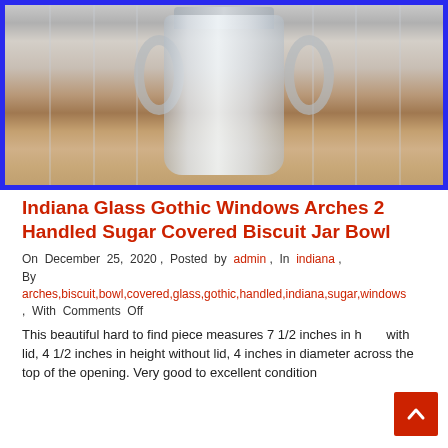[Figure (photo): Photo of an Indiana Glass Gothic Windows Arches 2-Handled Sugar Covered Biscuit Jar Bowl against a blue border background]
Indiana Glass Gothic Windows Arches 2 Handled Sugar Covered Biscuit Jar Bowl
On December 25, 2020 , Posted by admin , In indiana , By arches,biscuit,bowl,covered,glass,gothic,handled,indiana,sugar,windows , With Comments Off
This beautiful hard to find piece measures 7 1/2 inches in height with lid, 4 1/2 inches in height without lid, 4 inches in diameter across the top of the opening. Very good to excellent condition